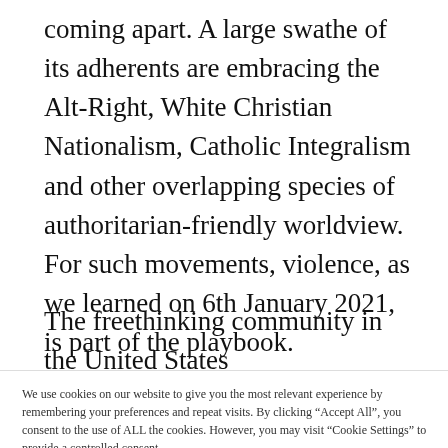coming apart. A large swathe of its adherents are embracing the Alt-Right, White Christian Nationalism, Catholic Integralism and other overlapping species of authoritarian-friendly worldview. For such movements, violence, as we learned on 6th January 2021, is part of the playbook.
The freethinking community in the United States
We use cookies on our website to give you the most relevant experience by remembering your preferences and repeat visits. By clicking "Accept All", you consent to the use of ALL the cookies. However, you may visit "Cookie Settings" to provide a controlled consent.